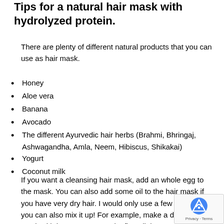Tips for a natural hair mask with hydrolyzed protein.
There are plenty of different natural products that you can use as hair mask.
Honey
Aloe vera
Banana
Avocado
The different Ayurvedic hair herbs (Brahmi, Bhringaj, Ashwagandha, Amla, Neem, Hibiscus, Shikakai)
Yogurt
Coconut milk
If you want a cleansing hair mask, add an whole egg to the mask. You can also add some oil to the hair mask if you have very dry hair. I would only use a few drops And you can also mix it up! For example, make a de hair mask with honey, yogurt and a fine oil that you love